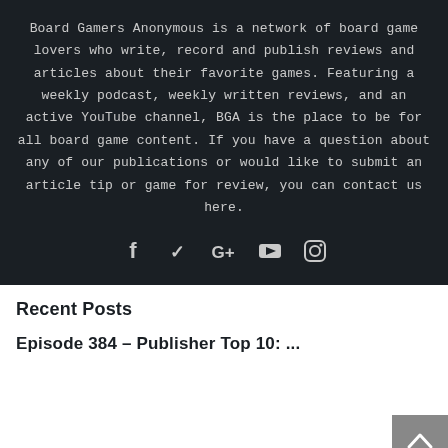Board Gamers Anonymous is a network of board game lovers who write, record and publish reviews and articles about their favorite games. Featuring a weekly podcast, weekly written reviews, and an active YouTube channel, BGA is the place to be for all board game content. If you have a question about any of our publications or would like to submit an article tip or game for review, you can contact us here.
[Figure (infographic): Social media icons row: Facebook (f), Twitter (bird), Google+ (G+), YouTube (play button), Instagram (camera)]
Recent Posts
Episode 384 – Publisher Top 10: ...